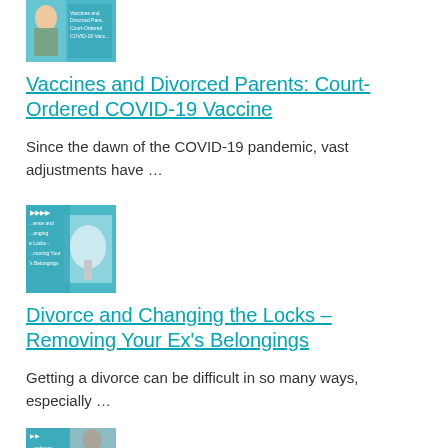[Figure (photo): Thumbnail image for article about Vaccines and Divorced Parents showing a person and a blue background with text overlay]
Vaccines and Divorced Parents: Court-Ordered COVID-19 Vaccine
Since the dawn of the COVID-19 pandemic, vast adjustments have …
[Figure (photo): Thumbnail image for article about Divorce and Changing the Locks showing a lock and key on a blue background with text overlay]
Divorce and Changing the Locks – Removing Your Ex's Belongings
Getting a divorce can be difficult in so many ways, especially …
[Figure (photo): Thumbnail image for a third article partially visible at the bottom of the page on a blue background]